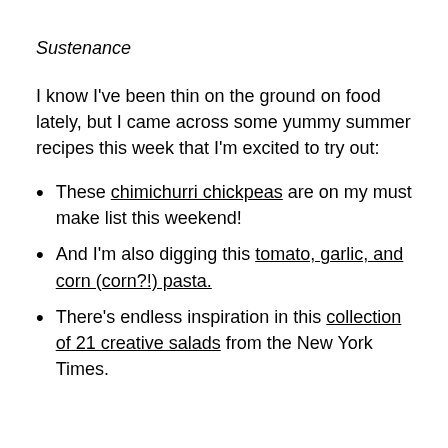Sustenance
I know I've been thin on the ground on food lately, but I came across some yummy summer recipes this week that I'm excited to try out:
These chimichurri chickpeas are on my must make list this weekend!
And I'm also digging this tomato, garlic, and corn (corn?!) pasta.
There's endless inspiration in this collection of 21 creative salads from the New York Times.